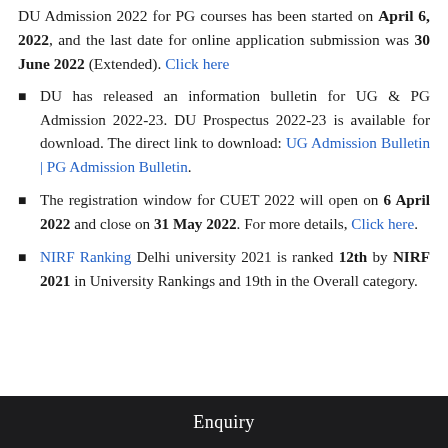DU Admission 2022 for PG courses has been started on April 6, 2022, and the last date for online application submission was 30 June 2022 (Extended). Click here
DU has released an information bulletin for UG & PG Admission 2022-23. DU Prospectus 2022-23 is available for download. The direct link to download: UG Admission Bulletin | PG Admission Bulletin.
The registration window for CUET 2022 will open on 6 April 2022 and close on 31 May 2022. For more details, Click here.
NIRF Ranking Delhi university 2021 is ranked 12th by NIRF 2021 in University Rankings and 19th in the Overall category.
Enquiry